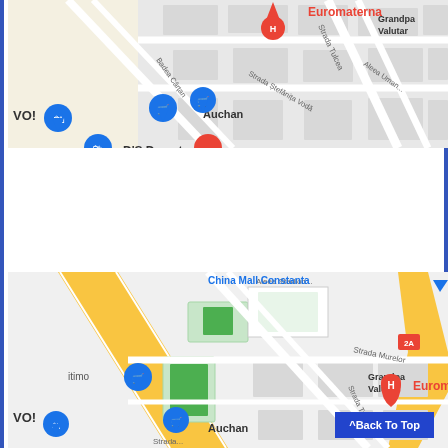[Figure (map): Google Maps screenshot showing Euromaterna location with nearby landmarks including Auchan, D'S Damat, street labels Strada Stefanita Voda, Aleea Umai, Strada Tulcea, Grandpa Valutar, and shopping/cart map pins. Top cropped portion of map.]
[Figure (map): Google Maps screenshot showing Euromaterna hospital (red H pin) location with nearby landmarks including Auchan, China Mall Constanta, road 2A, Aleea Stadion, Strada Murelor, Strada Tulcea, Grandpa Valutar, green sports fields/stadium, and yellow highway. Full zoomed-out map view.]
^Back To Top